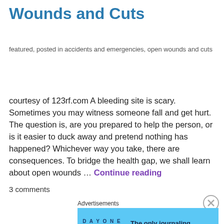Wounds and Cuts
featured, posted in accidents and emergencies, open wounds and cuts
courtesy of 123rf.com A bleeding site is scary. Sometimes you may witness someone fall and get hurt. The question is, are you prepared to help the person, or is it easier to duck away and pretend nothing has happened? Whichever way you take, there are consequences. To bridge the health gap, we shall learn about open wounds … Continue reading
3 comments
Advertisements
[Figure (screenshot): Day One journaling app advertisement banner with light blue background, app icons, and text: The only journaling app you'll ever need.]